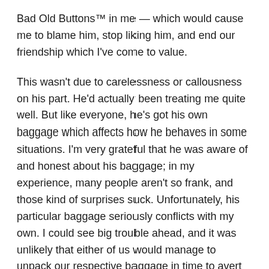Bad Old Buttons™ in me — which would cause me to blame him, stop liking him, and end our friendship which I've come to value.
This wasn't due to carelessness or callousness on his part. He'd actually been treating me quite well. But like everyone, he's got his own baggage which affects how he behaves in some situations. I'm very grateful that he was aware of and honest about his baggage; in my experience, many people aren't so frank, and those kind of surprises suck. Unfortunately, his particular baggage seriously conflicts with my own. I could see big trouble ahead, and it was unlikely that either of us would manage to unpack our respective baggage in time to avert that crash.
So I felt pretty vulnerable all the way around: